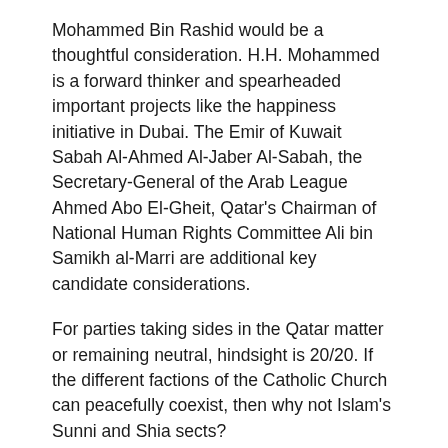Mohammed Bin Rashid would be a thoughtful consideration. H.H. Mohammed is a forward thinker and spearheaded important projects like the happiness initiative in Dubai. The Emir of Kuwait Sabah Al-Ahmed Al-Jaber Al-Sabah, the Secretary-General of the Arab League Ahmed Abo El-Gheit, Qatar's Chairman of National Human Rights Committee Ali bin Samikh al-Marri are additional key candidate considerations.
For parties taking sides in the Qatar matter or remaining neutral, hindsight is 20/20. If the different factions of the Catholic Church can peacefully coexist, then why not Islam's Sunni and Shia sects?
During Ramadan, a time of deep reflection and prayer, it is my sincerest hope that a new Middle East Mediation group can be formed so the Sunni and Shia voices can be jointly heard.